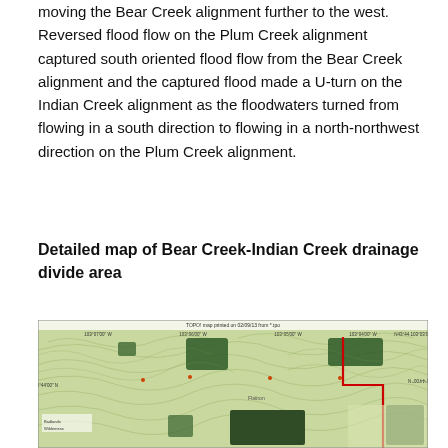moving the Bear Creek alignment further to the west. Reversed flood flow on the Plum Creek alignment captured south oriented flood flow from the Bear Creek alignment and the captured flood made a U-turn on the Indian Creek alignment as the floodwaters turned from flowing in a south direction to flowing in a north-northwest direction on the Plum Creek alignment.
Detailed map of Bear Creek-Indian Creek drainage divide area
[Figure (map): Topographic map showing the Bear Creek-Indian Creek drainage divide area with contour lines on green terrain, dark forest patches, and a red boundary line on the right side. Map printed on 02/09/13 from *.tpo.]